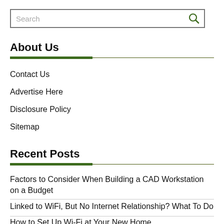[Figure (screenshot): Search input box with magnifying glass icon on right]
About Us
Contact Us
Advertise Here
Disclosure Policy
Sitemap
Recent Posts
Factors to Consider When Building a CAD Workstation on a Budget
Linked to WiFi, But No Internet Relationship? What To Do
How to Set Up Wi-Fi at Your New Home